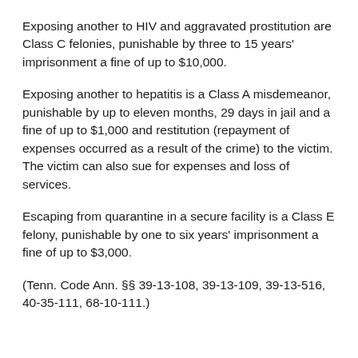Exposing another to HIV and aggravated prostitution are Class C felonies, punishable by three to 15 years' imprisonment a fine of up to $10,000.
Exposing another to hepatitis is a Class A misdemeanor, punishable by up to eleven months, 29 days in jail and a fine of up to $1,000 and restitution (repayment of expenses occurred as a result of the crime) to the victim. The victim can also sue for expenses and loss of services.
Escaping from quarantine in a secure facility is a Class E felony, punishable by one to six years' imprisonment a fine of up to $3,000.
(Tenn. Code Ann. §§ 39-13-108, 39-13-109, 39-13-516, 40-35-111, 68-10-111.)